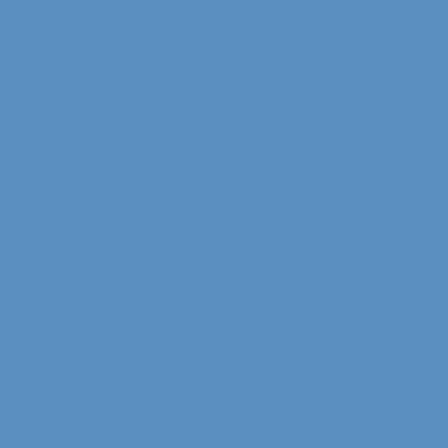201... in ant... agi... boo... Bo... Bo... Do... Do... Fit... Ch... fitn... Fit... Ch... Fit... Ins... Get... Fit... Go... Gy... Go... Era... of Bo... Hea... HII... kic... ku... fu... lon... Mia... MM... MM... Fig... Fit... Mu... Tha... NP... Bo... NP... Ma... Pa...